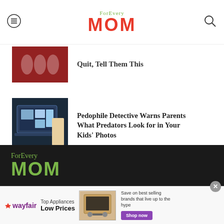ForEvery MOM
[Figure (photo): Partially visible cheerleaders/dancers photo (top article thumbnail, cropped at top)]
Quit, Tell Them This (partial, cut off at top)
[Figure (photo): Laptop with children's photos on screen - article thumbnail]
Pedophile Detective Warns Parents What Predators Look for in Your Kids' Photos
[Figure (photo): Person holding a loaf of bread - article thumbnail]
A Loaf of Bread and the Long Term Effects of Childhood Trauma
[Figure (logo): ForEvery MOM logo in dark footer area (green color)]
[Figure (screenshot): Wayfair advertisement banner: Top Appliances Low Prices, Save on best selling brands that live up to the hype, Shop now]